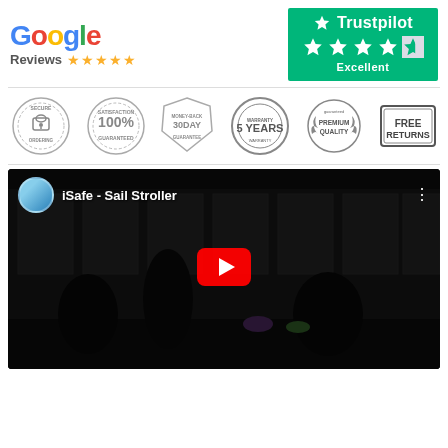[Figure (logo): Google Reviews logo with 5 gold stars]
[Figure (logo): Trustpilot Excellent rating badge with 5 green stars on dark green background]
[Figure (infographic): Six trust badges: Secure Ordering, 100% Satisfaction Guaranteed, 30 Day Money-Back Guarantee, 5 Years Warranty, Premium Quality, Free Returns]
[Figure (screenshot): YouTube video thumbnail for iSafe - Sail Stroller showing a stroller exhibition with people and strollers, with YouTube play button overlay]